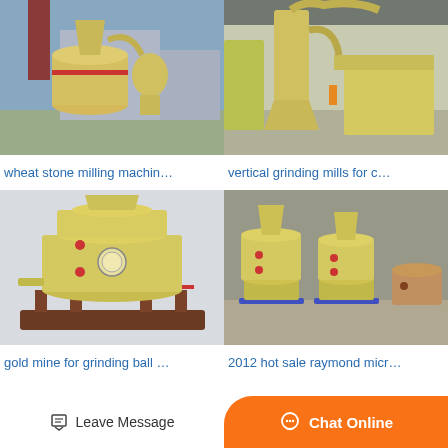[Figure (photo): Industrial wheat stone milling machine outdoors, yellow machinery with red brick chimney in background]
wheat stone milling machin…
[Figure (photo): Vertical grinding mills for cement or minerals inside industrial warehouse, yellow equipment]
vertical grinding mills for c…
[Figure (photo): Gold mine grinding ball mill machine, yellow and red, standalone product photo on grey background]
gold mine for grinding ball …
[Figure (photo): 2012 hot sale Raymond micro powder grinding mill machines in industrial factory, yellow equipment on blue bases]
2012 hot sale raymond micr…
Leave Message
Chat Online